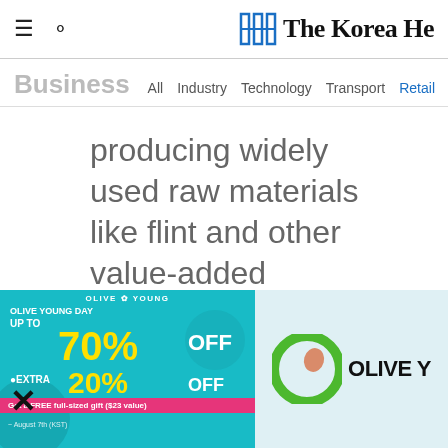The Korea Herald — Business | All Industry Technology Transport Retail
producing widely used raw materials like flint and other value-added business by investing in infrastructure and production facilities.
[Figure (screenshot): Olive Young Day advertisement banner: UP TO 70% OFF • EXTRA 20% OFF, Get a FREE full-sized gift ($23 value). Right side shows Olive Young logo with green O and brand name.]